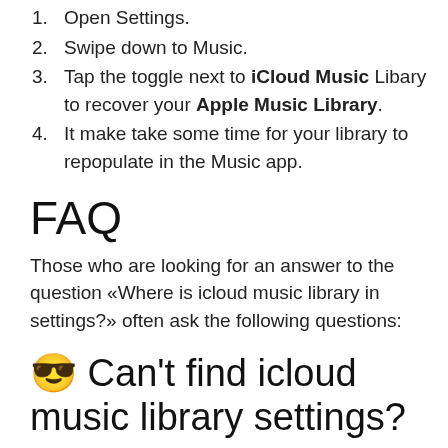1. Open Settings.
2. Swipe down to Music.
3. Tap the toggle next to iCloud Music Libary to recover your Apple Music Library.
4. It make take some time for your library to repopulate in the Music app.
FAQ
Those who are looking for an answer to the question «Where is icloud music library in settings?» often ask the following questions:
😎 Can't find icloud music library settings?
If your iCloud Music Library not showing up on your